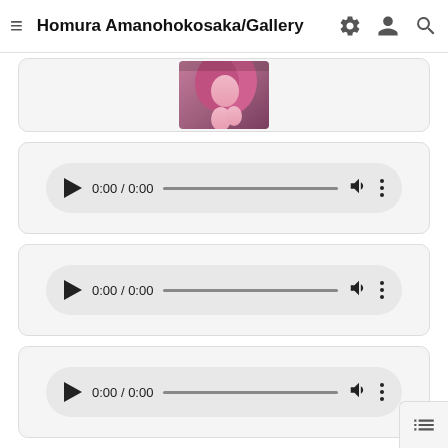Homura Amanohokosaka/Gallery
[Figure (screenshot): Anime character image thumbnail, partially visible at top]
[Figure (screenshot): Audio player widget showing 0:00 / 0:00 with play button, progress bar, volume icon, and more options icon]
[Figure (screenshot): Audio player widget showing 0:00 / 0:00 with play button, progress bar, volume icon, and more options icon]
[Figure (screenshot): Audio player widget showing 0:00 / 0:00 with play button, progress bar, volume icon, and more options icon]